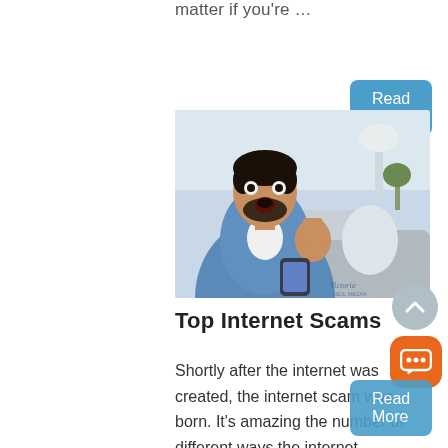matter if you're …
Read More
[Figure (photo): Man sitting on a couch looking shocked at his phone, wearing a blue denim shirt, with a bright indoor background.]
Top Internet Scams
Shortly after the internet was created, the internet scam was born. It's amazing the number of different ways the internet …